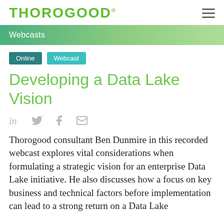THOROGOOD®
Webcasts
Online   Webcast
Developing a Data Lake Vision
Thorogood consultant Ben Dunmire in this recorded webcast explores vital considerations when formulating a strategic vision for an enterprise Data Lake initiative. He also discusses how a focus on key business and technical factors before implementation can lead to a strong return on a Data Lake